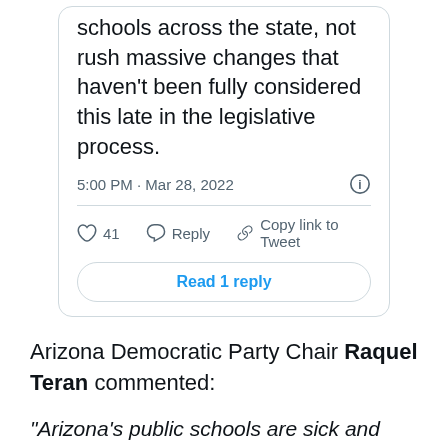[Figure (screenshot): Tweet screenshot showing partial tweet text 'schools across the state, not rush massive changes that haven't been fully considered this late in the legislative process.' with timestamp '5:00 PM · Mar 28, 2022', and action buttons: 41 likes, Reply, Copy link to Tweet, and a 'Read 1 reply' button.]
Arizona Democratic Party Chair Raquel Teran commented:
“Arizona’s public schools are sick and tired of being politicians’ bargaining chips. Rep. Udall is once again proving why Republicans cannot be trusted to be good-faith negotiators, especially when issues as critical as school funding are on